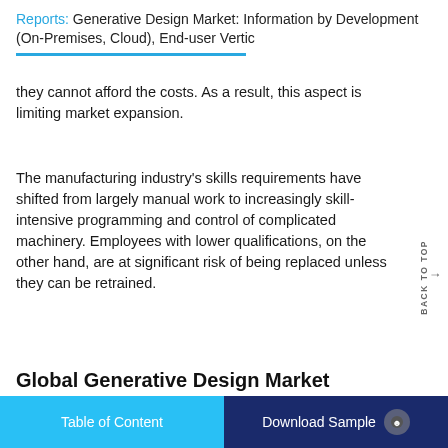Reports: Generative Design Market: Information by Development (On-Premises, Cloud), End-user Vertic
they cannot afford the costs. As a result, this aspect is limiting market expansion.
The manufacturing industry's skills requirements have shifted from largely manual work to increasingly skill-intensive programming and control of complicated machinery. Employees with lower qualifications, on the other hand, are at significant risk of being replaced unless they can be retrained.
Global Generative Design Market Opportunity
AI Technologies to Create Profitable Opportunities in the Global Generative Design Market
Table of Content    Download Sample